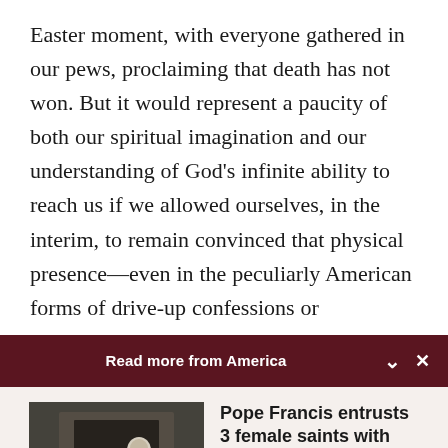Easter moment, with everyone gathered in our pews, proclaiming that death has not won. But it would represent a paucity of both our spiritual imagination and our understanding of God's infinite ability to reach us if we allowed ourselves, in the interim, to remain convinced that physical presence—even in the peculiarly American forms of drive-up confessions or
Read more from America
[Figure (photo): Photo of Pope Francis meeting with a group of people in a room, seen from behind the seated visitors facing him]
Pope Francis entrusts 3 female saints with new…
Cindy Wooden - Catholic News Service